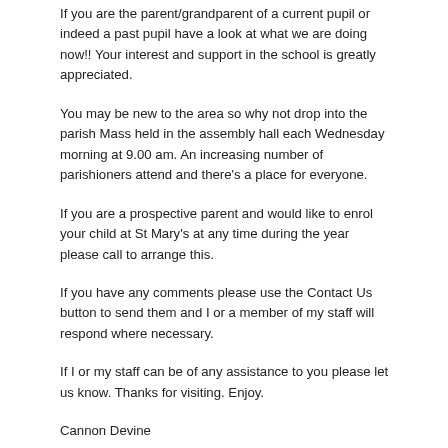If you are the parent/grandparent of a current pupil or indeed a past pupil have a look at what we are doing now!! Your interest and support in the school is greatly appreciated.
You may be new to the area so why not drop into the parish Mass held in the assembly hall each Wednesday morning at 9.00 am. An increasing number of parishioners attend and there's a place for everyone.
If you are a prospective parent and would like to enrol your child at St Mary's at any time during the year please call to arrange this.
If you have any comments please use the Contact Us button to send them and I or a member of my staff will respond where necessary.
If I or my staff can be of any assistance to you please let us know. Thanks for visiting. Enjoy.
Cannon Devine